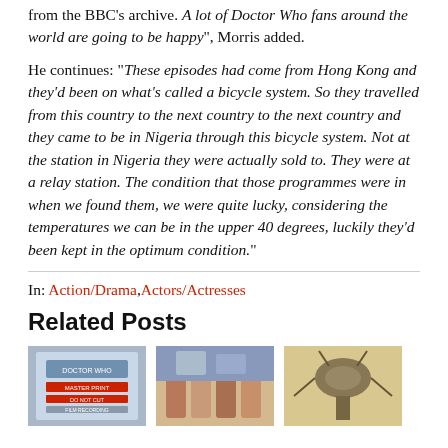from the BBC's archive. A lot of Doctor Who fans around the world are going to be happy", Morris added.
He continues: “These episodes had come from Hong Kong and they’d been on what’s called a bicycle system. So they travelled from this country to the next country to the next country and they came to be in Nigeria through this bicycle system. Not at the station in Nigeria they were actually sold to. They were at a relay station. The condition that those programmes were in when we found them, we were quite lucky, considering the temperatures we can be in the upper 40 degrees, luckily they’d been kept in the optimum condition.”
In: Action/Drama, Actors/Actresses
Related Posts
[Figure (photo): Doctor Who Master Print Do Not Cut Film Recording label]
[Figure (photo): Group of people in a living room setting]
[Figure (photo): Old mechanical or alien device illustration]